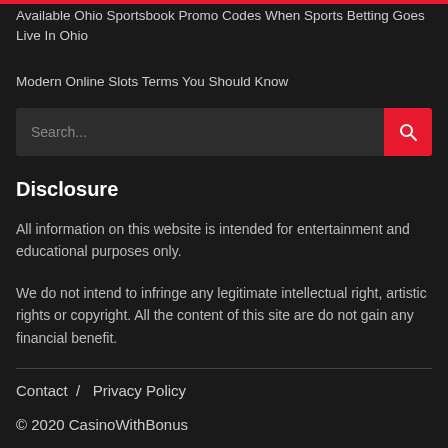Available Ohio Sportsbook Promo Codes When Sports Betting Goes Live In Ohio
Modern Online Slots Terms You Should Know
Search...
Disclosure
All information on this website is intended for entertainment and educational purposes only.
We do not intend to infringe any legitimate intellectual right, artistic rights or copyright. All the content of this site are do not gain any financial benefit.
Contact / Privacy Policy
© 2020 CasinoWithBonus